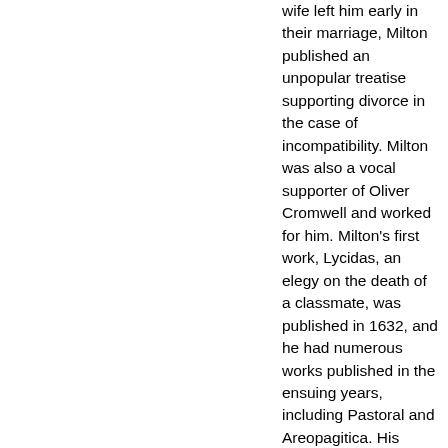wife left him early in their marriage, Milton published an unpopular treatise supporting divorce in the case of incompatibility. Milton was also a vocal supporter of Oliver Cromwell and worked for him. Milton's first work, Lycidas, an elegy on the death of a classmate, was published in 1632, and he had numerous works published in the ensuing years, including Pastoral and Areopagitica. His Christian epic poem, Paradise Lost, which traced humanity's fall from divine grace, appeared in 1667, assuring his place as